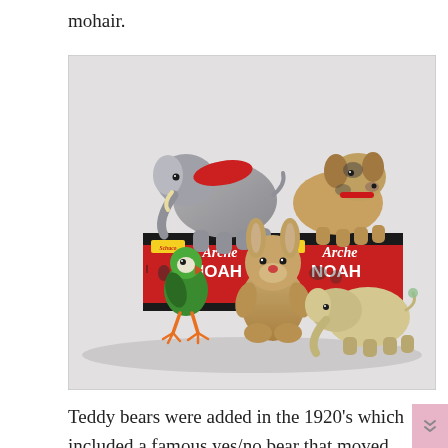mohair.
[Figure (photo): Several small stuffed toy animals arranged in front of two red 'Schuco Arche NOAH' boxes. Animals include a grey elephant with red saddle, a dog, a green bird with orange feet, a sitting bear/mouse, and a small elephant. The boxes feature black and yellow designs with animal illustrations.]
Teddy bears were added in the 1920's which included a famous yes/no bear that moved its